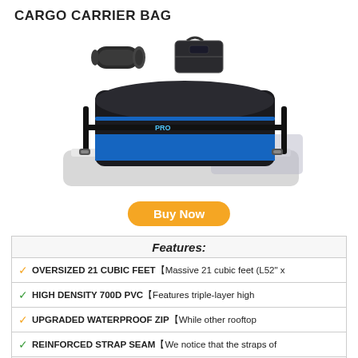CARGO CARRIER BAG
[Figure (photo): Product photo showing a black and blue rooftop cargo carrier bag mounted on a car roof, with a rolled mat and a smaller carrying bag shown above it.]
Buy Now
Features:
✓ OVERSIZED 21 CUBIC FEET【Massive 21 cubic feet (L52" x
✓ HIGH DENSITY 700D PVC【Features triple-layer high
✓ UPGRADED WATERPROOF ZIP【While other rooftop
✓ REINFORCED STRAP SEAM【We notice that the straps of
✓ FIT ALL CARS【Whether your car is with roof rack or not,